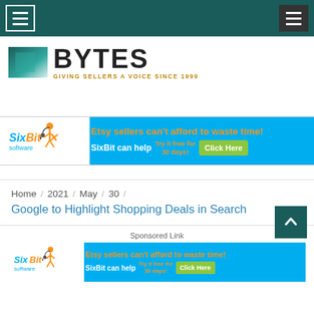Navigation bar with hamburger menus
[Figure (logo): AuctionBytes/Bytes logo with teal square graphic and tagline GIVING SELLERS A VOICE SINCE 1999]
[Figure (other): SixBit Software advertisement banner: Etsy sellers can't afford to waste time! SixBit can help. Try it free for 30 days! Click Here]
Home / 2021 / May / 30
Google to Highlight Shopping Deals in Search
Sponsored Link
[Figure (other): SixBit Software advertisement banner: Etsy sellers can't afford to waste time! SixBit can help. Try it free for 30 days! Click Here]